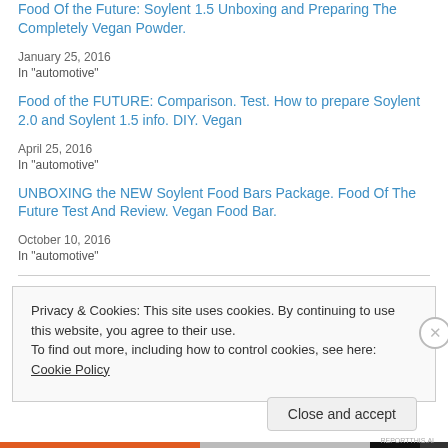Food Of the Future: Soylent 1.5 Unboxing and Preparing The Completely Vegan Powder.
January 25, 2016
In "automotive"
Food of the FUTURE: Comparison. Test. How to prepare Soylent 2.0 and Soylent 1.5 info. DIY. Vegan
April 25, 2016
In "automotive"
UNBOXING the NEW Soylent Food Bars Package. Food Of The Future Test And Review. Vegan Food Bar.
October 10, 2016
In "automotive"
Privacy & Cookies: This site uses cookies. By continuing to use this website, you agree to their use.
To find out more, including how to control cookies, see here: Cookie Policy
Close and accept